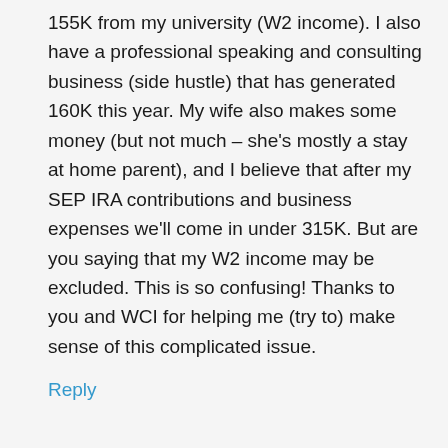155K from my university (W2 income). I also have a professional speaking and consulting business (side hustle) that has generated 160K this year. My wife also makes some money (but not much – she's mostly a stay at home parent), and I believe that after my SEP IRA contributions and business expenses we'll come in under 315K. But are you saying that my W2 income may be excluded. This is so confusing! Thanks to you and WCI for helping me (try to) make sense of this complicated issue.
Reply